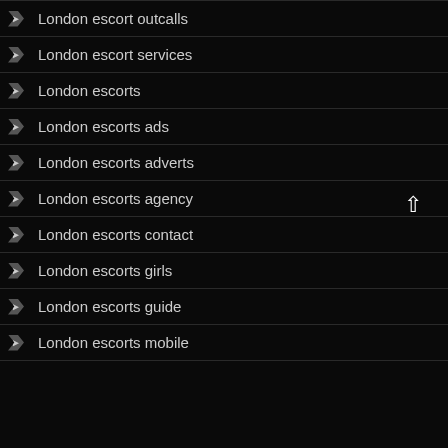London escort outcalls
London escort services
London escorts
London escorts ads
London escorts adverts
London escorts agency
London escorts contact
London escorts girls
London escorts guide
London escorts mobile